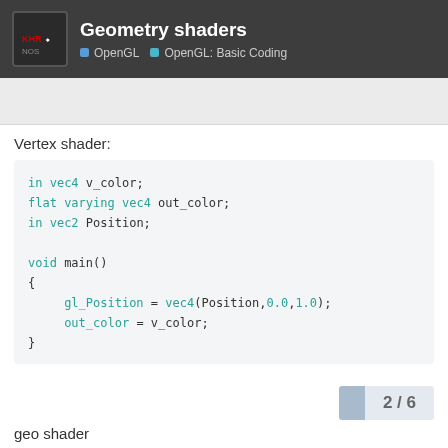Geometry shaders — OpenGL > OpenGL: Basic Coding
Vertex shader:
in  vec4 v_color;
flat varying vec4 out_color;
in vec2 Position;

void main()
{
    gl_Position = vec4(Position,0.0,1.0);
    out_color = v_color;
}
geo shader